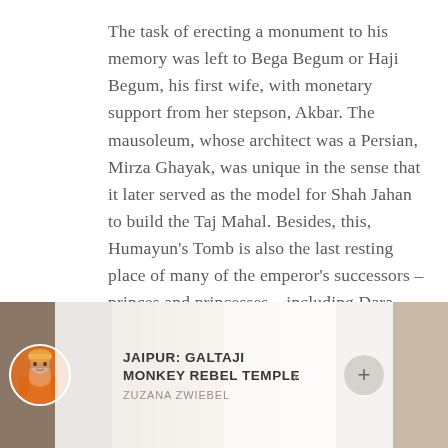The task of erecting a monument to his memory was left to Bega Begum or Haji Begum, his first wife, with monetary support from her stepson, Akbar. The mausoleum, whose architect was a Persian, Mirza Ghayak, was unique in the sense that it later served as the model for Shah Jahan to build the Taj Mahal. Besides, this, Humayun's Tomb is also the last resting place of many of the emperor's successors – princes and princesses – including Dara Shikoh, whose headless body was interred there after his execution on the orders of Aurangzeb.
[Figure (photo): A card overlay on a blurred background image showing a thumbnail of a sadhu/holy man in orange robes. The card reads 'JAIPUR: GALTAJI MONKEY REBEL TEMPLE' by ZUZANA ZWIEBEL with a circular avatar, an arrow and a plus button.]